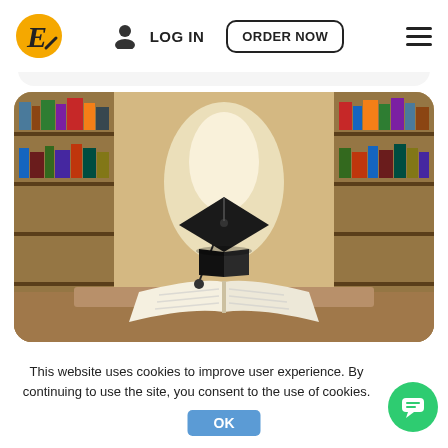[Figure (logo): Stylized italic E logo with orange circle background and diagonal slash, representing an education/essay writing service]
LOG IN
ORDER NOW
[Figure (photo): A graduation cap (mortarboard) resting on an open book in the middle of a library aisle with bookshelves on both sides, warm bokeh lighting]
This website uses cookies to improve user experience. By continuing to use the site, you consent to the use of cookies.
OK